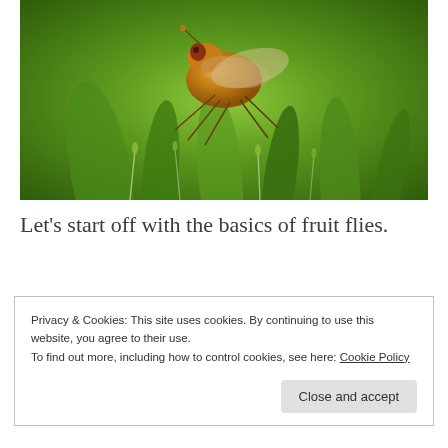[Figure (photo): Close-up macro photograph of a fruit fly (Drosophila) perched on green plant spikes/grass against a blurred green background]
Let’s start off with the basics of fruit flies.
Privacy & Cookies: This site uses cookies. By continuing to use this website, you agree to their use.
To find out more, including how to control cookies, see here: Cookie Policy